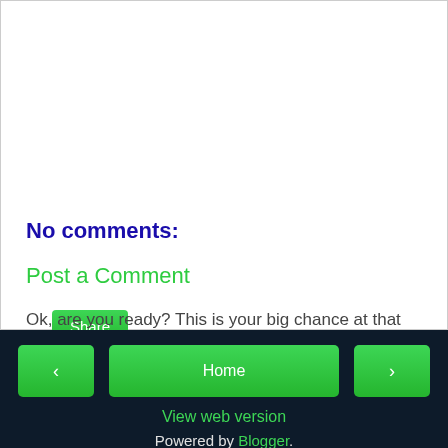Share
No comments:
Post a Comment
Ok, are you ready? This is your big chance at that 15 minutes of fame that everyone told you that you'd get before you die so DON'T BLOW IT buddy ;-)
< Home > View web version Powered by Blogger.